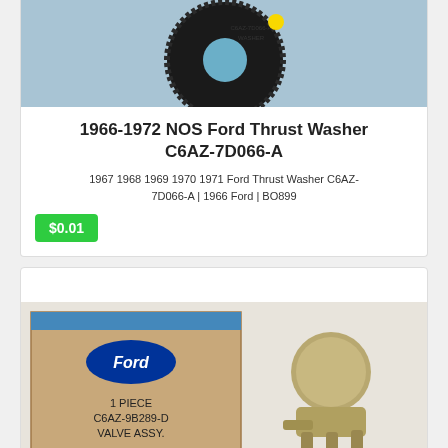[Figure (photo): NOS Ford Thrust Washer C6AZ-7D066-A shown on blue packaging]
1966-1972 NOS Ford Thrust Washer C6AZ-7D066-A
1967 1968 1969 1970 1971 Ford Thrust Washer C6AZ-7D066-A | 1966 Ford | BO899
$0.01
[Figure (photo): Ford valve assembly C6AZ-9B289-D in original box next to the valve part, labeled Dons Auto Parts]